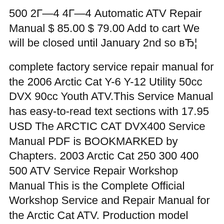500 2Г—4 4Г—4 Automatic ATV Repair Manual $ 85.00 $ 79.00 Add to cart We will be closed until January 2nd so вЂ¦
complete factory service repair manual for the 2006 Arctic Cat Y-6 Y-12 Utility 50cc DVX 90cc Youth ATV.This Service Manual has easy-to-read text sections with 17.95 USD The ARCTIC CAT DVX400 Service Manual PDF is BOOKMARKED by Chapters. 2003 Arctic Cat 250 300 400 500 ATV Service Repair Workshop Manual This is the Complete Official Workshop Service and Repair Manual for the Arctic Cat ATV. Production model years: 2003.
click here download for free. 2003 Arctic